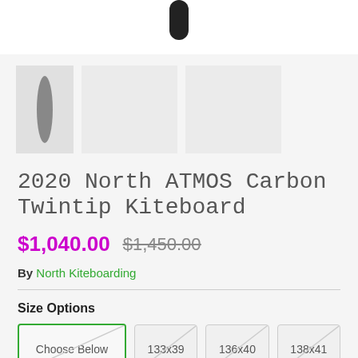[Figure (photo): Partial top view of a kiteboard product image, showing bottom edge of a black kiteboard against white background]
[Figure (photo): Three product thumbnail images: first shows a narrow grey kiteboard silhouette vertically oriented, second and third are light grey placeholder boxes]
2020 North ATMOS Carbon Twintip Kiteboard
$1,040.00  $1,450.00
By North Kiteboarding
Size Options
Choose Below
133x39
136x40
138x41